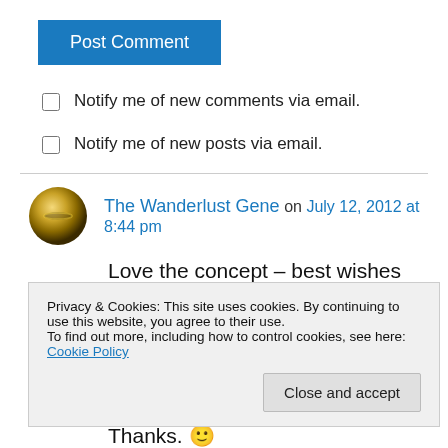[Figure (other): Blue 'Post Comment' button]
Notify me of new comments via email.
Notify me of new posts via email.
The Wanderlust Gene on July 12, 2012 at 8:44 pm
Love the concept – best wishes for great success – we've gotta get into the minds of the young, otherwise we're doomed!
Privacy & Cookies: This site uses cookies. By continuing to use this website, you agree to their use.
To find out more, including how to control cookies, see here: Cookie Policy
Thanks. 🙂